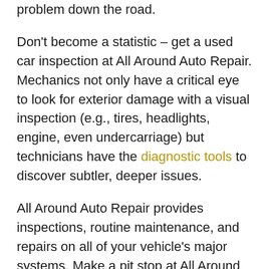problem down the road.
Don't become a statistic – get a used car inspection at All Around Auto Repair. Mechanics not only have a critical eye to look for exterior damage with a visual inspection (e.g., tires, headlights, engine, even undercarriage) but technicians have the diagnostic tools to discover subtler, deeper issues.
All Around Auto Repair provides inspections, routine maintenance, and repairs on all of your vehicle's major systems. Make a pit stop at All Around Auto Repair if you need a used car inspection and you're in the Santa Rosa area.
You really need to have a used car inspection if